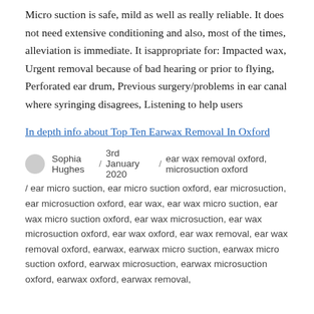Micro suction is safe, mild as well as really reliable. It does not need extensive conditioning and also, most of the times, alleviation is immediate. It isappropriate for: Impacted wax, Urgent removal because of bad hearing or prior to flying, Perforated ear drum, Previous surgery/problems in ear canal where syringing disagrees, Listening to help users
In depth info about Top Ten Earwax Removal In Oxford
Sophia Hughes / 3rd January 2020 / ear wax removal oxford, microsuction oxford / ear micro suction, ear micro suction oxford, ear microsuction, ear microsuction oxford, ear wax, ear wax micro suction, ear wax micro suction oxford, ear wax microsuction, ear wax microsuction oxford, ear wax oxford, ear wax removal, ear wax removal oxford, earwax, earwax micro suction, earwax micro suction oxford, earwax microsuction, earwax microsuction oxford, earwax oxford, earwax removal,